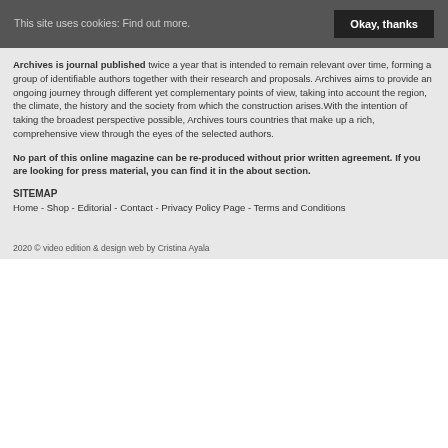This site uses cookies: Find out more.   Okay, thanks
Archives is journal published twice a year that is intended to remain relevant over time, forming a group of identifiable authors together with their research and proposals. Archives aims to provide an ongoing journey through different yet complementary points of view, taking into account the region, the climate, the history and the society from which the construction arises.With the intention of taking the broadest perspective possible, Archives tours countries that make up a rich, comprehensive view through the eyes of the selected authors.
No part of this online magazine can be re-produced without prior written agreement. If you are looking for press material, you can find it in the about section.
SITEMAP
Home - Shop - Editorial - Contact - Privacy Policy Page - Terms and Conditions
2020 © video edition & design web by Cristina Ayala